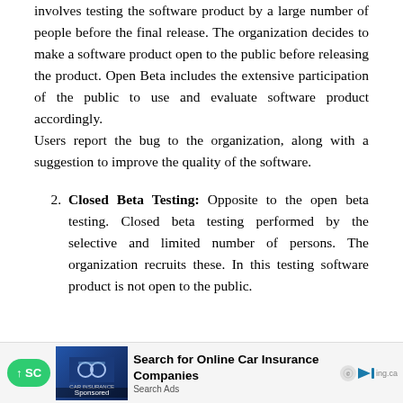involves testing the software product by a large number of people before the final release. The organization decides to make a software product open to the public before releasing the product. Open Beta includes the extensive participation of the public to use and evaluate software product accordingly. Users report the bug to the organization, along with a suggestion to improve the quality of the software.
Closed Beta Testing: Opposite to the open beta testing. Closed beta testing performed by the selective and limited number of persons. The organization recruits these. In this testing software product is not open to the public.
[Figure (screenshot): Advertisement banner at the bottom: Scroll up button (green), car insurance image with 'Sponsored' label, text 'Search for Online Car Insurance Companies' / 'Search Ads', and a logo/arrow on the right.]